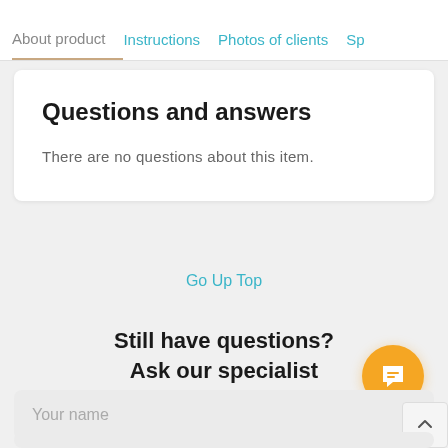About product | Instructions | Photos of clients | Sp
Questions and answers
There are no questions about this item.
Go Up Top
Still have questions? Ask our specialist
Your name